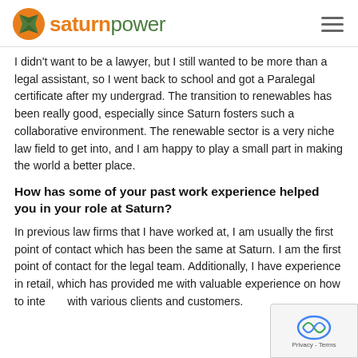saturn power
I didn't want to be a lawyer, but I still wanted to be more than a legal assistant, so I went back to school and got a Paralegal certificate after my undergrad. The transition to renewables has been really good, especially since Saturn fosters such a collaborative environment. The renewable sector is a very niche law field to get into, and I am happy to play a small part in making the world a better place.
How has some of your past work experience helped you in your role at Saturn?
In previous law firms that I have worked at, I am usually the first point of contact which has been the same at Saturn. I am the first point of contact for the legal team. Additionally, I have experience in retail, which has provided me with valuable experience on how to interact with various clients and customers.